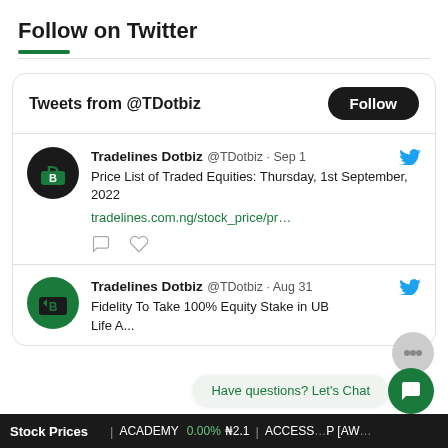Follow on Twitter
[Figure (screenshot): Twitter widget showing tweets from @TDotbiz (Tradelines Dotbiz). First tweet dated Sep 1: 'Price List of Traded Equities: Thursday, 1st September, 2022' with link tradelines.com.ng/stock_price/pr... Second tweet dated Aug 31: 'Fidelity To Take 100% Equity Stake in UB...' (truncated). Widget has a Follow button.]
Stock Prices  |  ACADEMY 0.00% ₦2.1  ACCESS...P [AW...